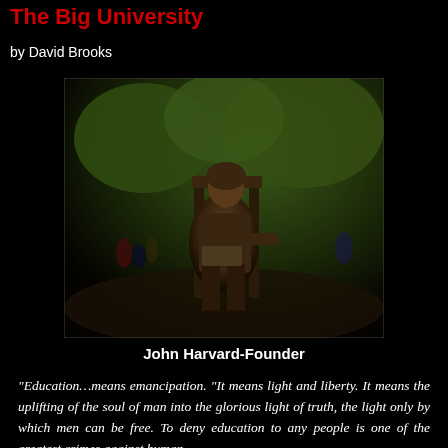The Big University
by David Brooks
[Figure (photo): Bronze statue of John Harvard seated on a chair, set in an outdoor campus environment with green trees and people in the background.]
John Harvard-Founder
“Education…means emancipation. “It means light and liberty. It means the uplifting of the soul of man into the glorious light of truth, the light only by which men can be free. To deny education to any people is one of the greatest crimes against human